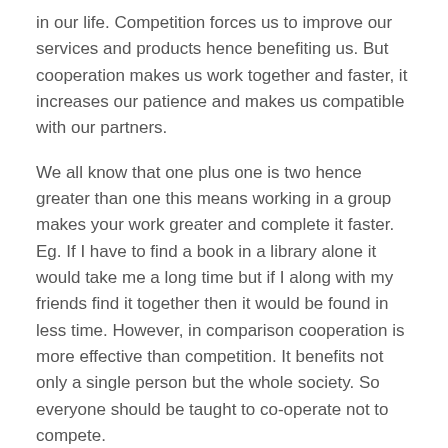in our life. Competition forces us to improve our services and products hence benefiting us. But cooperation makes us work together and faster, it increases our patience and makes us compatible with our partners.
We all know that one plus one is two hence greater than one this means working in a group makes your work greater and complete it faster. Eg. If I have to find a book in a library alone it would take me a long time but if I along with my friends find it together then it would be found in less time. However, in comparison cooperation is more effective than competition. It benefits not only a single person but the whole society. So everyone should be taught to co-operate not to compete.
Dakshita Sirvi
Class IX B
The Fabindia School